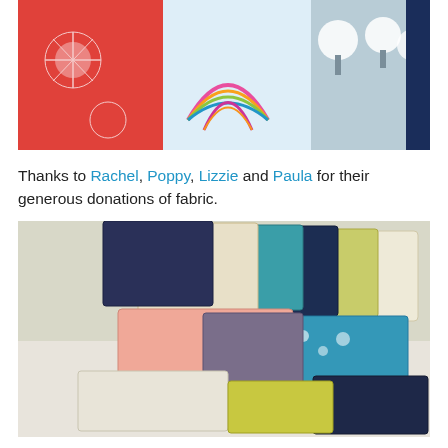[Figure (photo): Photo of colorful patterned fabrics — red with white dandelion print, rainbow fabric, grey with white tree print, dark navy with umbrella pattern]
Thanks to Rachel, Poppy, Lizzie and Paula for their generous donations of fabric.
[Figure (photo): Photo of a pile of various patterned fabric fat quarters in cream, teal, navy, pink, grey, and yellow-green patterns stacked on a white surface]